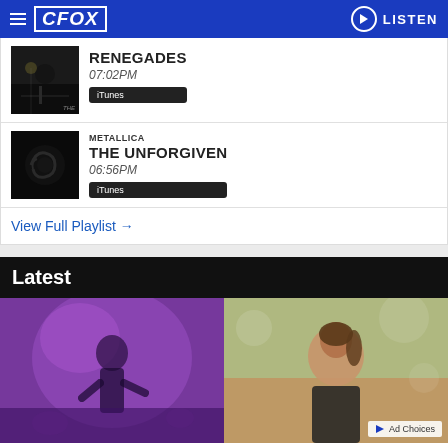CFOX — LISTEN
[Figure (photo): Album art - dark night street scene thumbnail]
RENEGADES
07:02PM
iTunes
[Figure (photo): Metallica Black Album cover thumbnail]
METALLICA
THE UNFORGIVEN
06:56PM
iTunes
View Full Playlist →
Latest
[Figure (photo): Two news/article thumbnail images side by side - left shows woman dancing in purple light, right shows woman outdoors]
Ad Choices